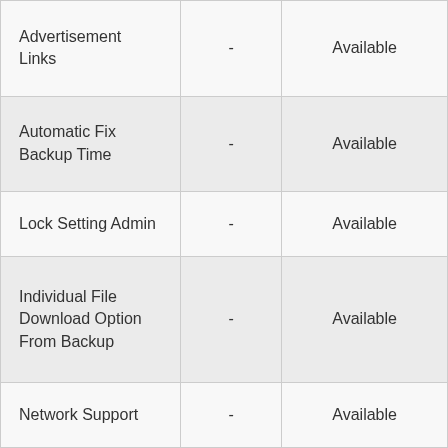| Advertisement Links | - | Available |
| Automatic Fix Backup Time | - | Available |
| Lock Setting Admin | - | Available |
| Individual File Download Option From Backup | - | Available |
| Network Support | - | Available |